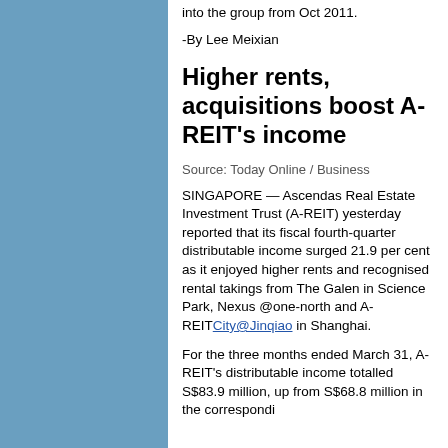into the group from Oct 2011.
-By Lee Meixian
Higher rents, acquisitions boost A-REIT's income
Source: Today Online / Business
SINGAPORE — Ascendas Real Estate Investment Trust (A-REIT) yesterday reported that its fiscal fourth-quarter distributable income surged 21.9 per cent as it enjoyed higher rents and recognised rental takings from The Galen in Science Park, Nexus @one-north and A-REITCity@Jinqiao in Shanghai.
For the three months ended March 31, A-REIT's distributable income totalled S$83.9 million, up from S$68.8 million in the corresponding...